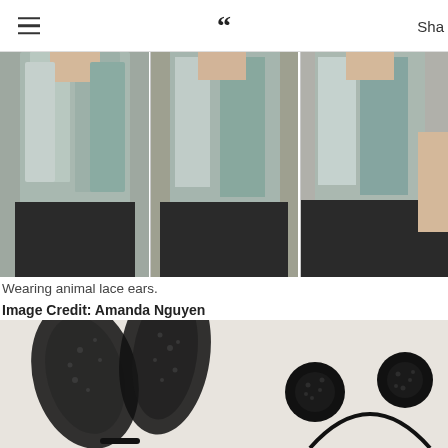≡  ❝  Sha
[Figure (photo): Three panels showing a person with long silver-blue ombre hair wearing a black top, modeling animal lace ears on their head.]
Wearing animal lace ears.
Image Credit: Amanda Nguyen
[Figure (photo): Black lace animal ear headbands laid flat on a white surface — one large bunny ear headband on the left and a smaller round mouse ear headband on the right.]